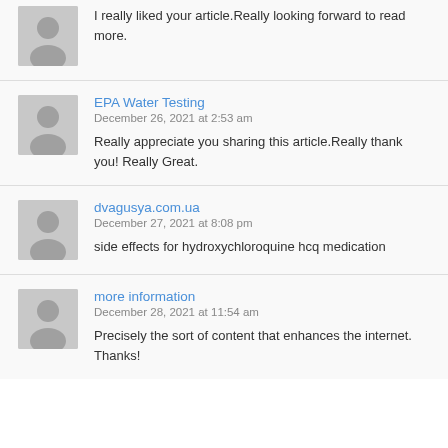I really liked your article.Really looking forward to read more.
EPA Water Testing
December 26, 2021 at 2:53 am
Really appreciate you sharing this article.Really thank you! Really Great.
dvagusya.com.ua
December 27, 2021 at 8:08 pm
side effects for hydroxychloroquine hcq medication
more information
December 28, 2021 at 11:54 am
Precisely the sort of content that enhances the internet. Thanks!